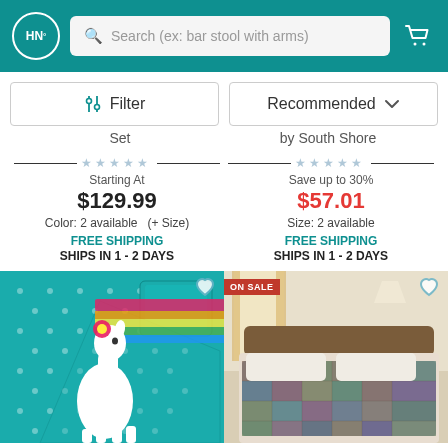HN° — Search (ex: bar stool with arms)
Filter | Recommended ∨
Set
by South Shore
Starting At
$129.99
Color: 2 available   (+ Size)
FREE SHIPPING
SHIPS IN 1 - 2 DAYS
Save up to 30%
$57.01
Size: 2 available
FREE SHIPPING
SHIPS IN 1 - 2 DAYS
[Figure (photo): Teal llama bedding set with colorful pattern]
[Figure (photo): Plaid quilt bedding set on a bed — ON SALE badge]